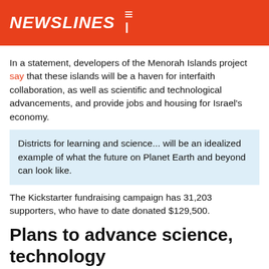NEWSLINES
In a statement, developers of the Menorah Islands project say that these islands will be a haven for interfaith collaboration, as well as scientific and technological advancements, and provide jobs and housing for Israel's economy.
Districts for learning and science... will be an idealized example of what the future on Planet Earth and beyond can look like.
The Kickstarter fundraising campaign has 31,203 supporters, who have to date donated $129,500.
Plans to advance science, technology
Israel
Makes Statement
The developers of the Menorah Islands say one of the major goals for the Islands is the advancement of science and technology in ways to benefit the entire globe, across all types